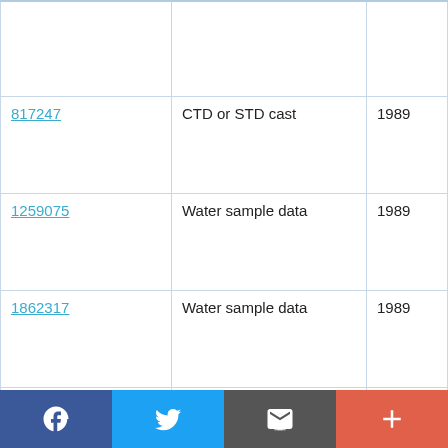| ID | Type | Year |
| --- | --- | --- |
|  |  |  |
| 817247 | CTD or STD cast | 1989 |
| 1259075 | Water sample data | 1989 |
| 1862317 | Water sample data | 1989 |
| 817259 | CTD or STD cast | 1989 13:00 |
| 1259087 | Water sample data | 1989 |
| 1862329 | Water sample data | 1989 |
Social share bar: Facebook, Twitter, Email, More